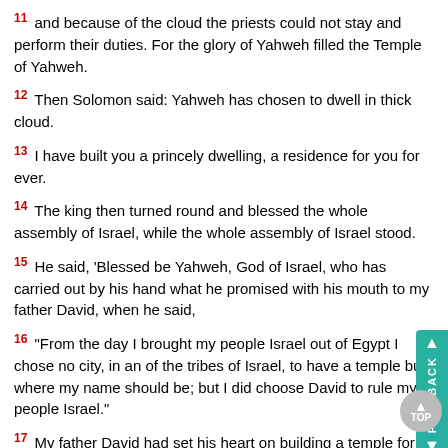11 and because of the cloud the priests could not stay and perform their duties. For the glory of Yahweh filled the Temple of Yahweh.
12 Then Solomon said: Yahweh has chosen to dwell in thick cloud.
13 I have built you a princely dwelling, a residence for you for ever.
14 The king then turned round and blessed the whole assembly of Israel, while the whole assembly of Israel stood.
15 He said, 'Blessed be Yahweh, God of Israel, who has carried out by his hand what he promised with his mouth to my father David, when he said,
16 "From the day I brought my people Israel out of Egypt I chose no city, in any of the tribes of Israel, to have a temple built where my name should be; but I did choose David to rule my people Israel."
17 My father David had set his heart on building a temple for the name of Yahweh, God of Israel,
18 but Yahweh said to my father David, "You have set your heart on building a temple for my name, and in this you have done well;